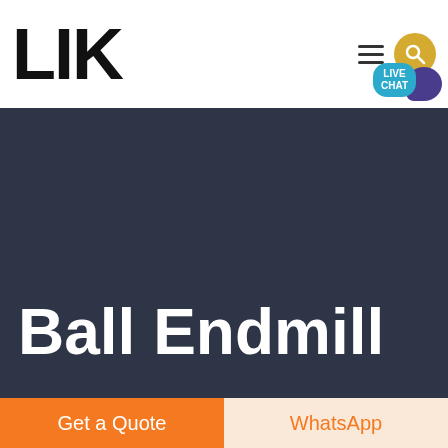LIK
Ball Endmill
Get a Quote
WhatsApp